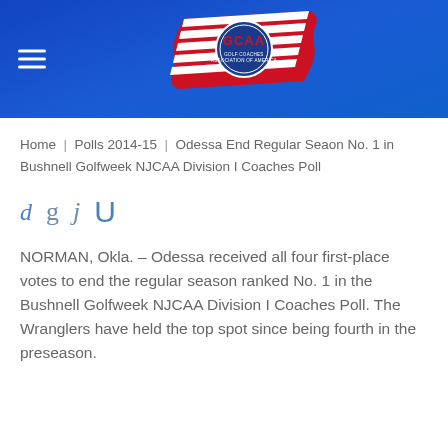[Figure (logo): GCAA Golf Coaches Association of America logo with American flag banner design on blue header background]
Home | Polls 2014-15 | Odessa End Regular Seaon No. 1 in Bushnell Golfweek NJCAA Division I Coaches Poll
[Figure (other): Social media share icons: d g j U]
NORMAN, Okla. – Odessa received all four first-place votes to end the regular season ranked No. 1 in the Bushnell Golfweek NJCAA Division I Coaches Poll. The Wranglers have held the top spot since being fourth in the preseason.